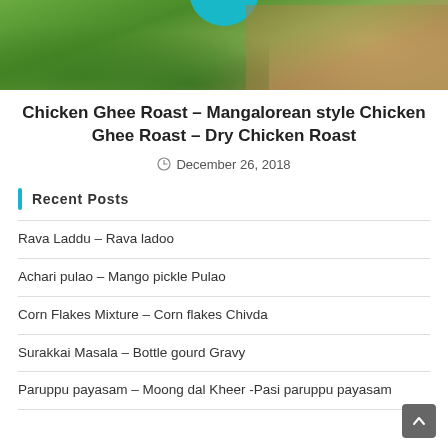[Figure (photo): Photo showing green leaves/herbs in foreground and a wooden surface with a teal circular element at top]
Chicken Ghee Roast – Mangalorean style Chicken Ghee Roast – Dry Chicken Roast
December 26, 2018
Recent Posts
Rava Laddu – Rava ladoo
Achari pulao – Mango pickle Pulao
Corn Flakes Mixture – Corn flakes Chivda
Surakkai Masala – Bottle gourd Gravy
Paruppu payasam – Moong dal Kheer -Pasi paruppu payasam